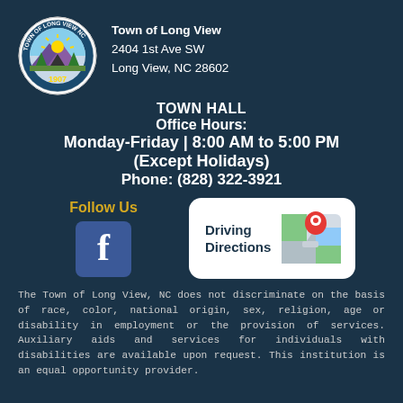[Figure (logo): Town of Long View NC seal, circular with year 1907, depicting a mountain landscape with trees and a tent under a sun]
Town of Long View
2404 1st Ave SW
Long View, NC 28602
TOWN HALL
Office Hours:
Monday-Friday | 8:00 AM to 5:00 PM
(Except Holidays)
Phone: (828) 322-3921
Follow Us
[Figure (logo): Facebook logo icon - blue square with white 'f' letter]
[Figure (illustration): Driving Directions button with Google Maps style map icon showing a red location pin and green road area on grey map]
The Town of Long View, NC does not discriminate on the basis of race, color, national origin, sex, religion, age or disability in employment or the provision of services. Auxiliary aids and services for individuals with disabilities are available upon request. This institution is an equal opportunity provider.